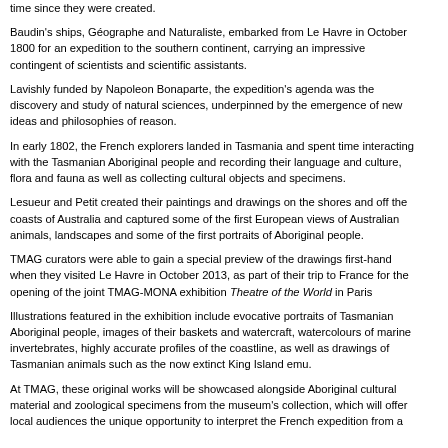time since they were created.
Baudin's ships, Géographe and Naturaliste, embarked from Le Havre in October 1800 for an expedition to the southern continent, carrying an impressive contingent of scientists and scientific assistants.
Lavishly funded by Napoleon Bonaparte, the expedition's agenda was the discovery and study of natural sciences, underpinned by the emergence of new ideas and philosophies of reason.
In early 1802, the French explorers landed in Tasmania and spent time interacting with the Tasmanian Aboriginal people and recording their language and culture, flora and fauna as well as collecting cultural objects and specimens.
Lesueur and Petit created their paintings and drawings on the shores and off the coasts of Australia and captured some of the first European views of Australian animals, landscapes and some of the first portraits of Aboriginal people.
TMAG curators were able to gain a special preview of the drawings first-hand when they visited Le Havre in October 2013, as part of their trip to France for the opening of the joint TMAG-MONA exhibition Theatre of the World in Paris
Illustrations featured in the exhibition include evocative portraits of Tasmanian Aboriginal people, images of their baskets and watercraft, watercolours of marine invertebrates, highly accurate profiles of the coastline, as well as drawings of Tasmanian animals such as the now extinct King Island emu.
At TMAG, these original works will be showcased alongside Aboriginal cultural material and zoological specimens from the museum's collection, which will offer local audiences the unique opportunity to interpret the French expedition from a